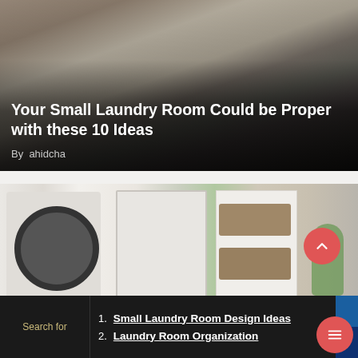[Figure (photo): Top card: dark laundry room photo with washer/dryer under shelving, dark gradient overlay at bottom with white title text and author]
Your Small Laundry Room Could be Proper with these 10 Ideas
By  ahidcha
[Figure (photo): Bottom card: bright laundry room photo showing washing machine, storage cabinet with baskets, plant, and decorative elements]
1.  Small Laundry Room Design Ideas
2.  Laundry Room Organization
Search for